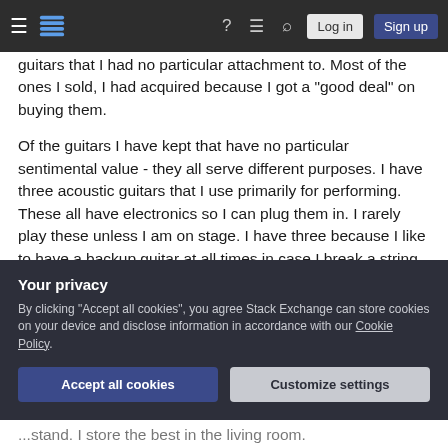Stack Exchange navigation bar with hamburger menu, logo, help, chat, search icons, Log in and Sign up buttons
guitars that I had no particular attachment to. Most of the ones I sold, I had acquired because I got a "good deal" on buying them.
Of the guitars I have kept that have no particular sentimental value - they all serve different purposes. I have three acoustic guitars that I use primarily for performing. These all have electronics so I can plug them in. I rarely play these unless I am on stage. I have three because I like to have a backup guitar at all times in case I break a string and I leave them in different...
Your privacy
By clicking "Accept all cookies", you agree Stack Exchange can store cookies on your device and disclose information in accordance with our Cookie Policy.
Accept all cookies    Customize settings
...stand. I store the best in the living room.